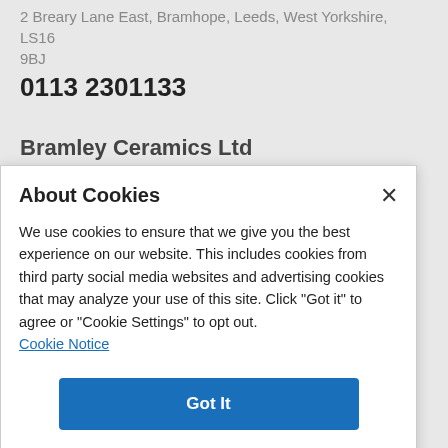2 Breary Lane East, Bramhope, Leeds, West Yorkshire, LS16 9BJ
0113 2301133
Bramley Ceramics Ltd
About Cookies
We use cookies to ensure that we give you the best experience on our website. This includes cookies from third party social media websites and advertising cookies that may analyze your use of this site. Click "Got it" to agree or "Cookie Settings" to opt out.
Cookie Notice
Got It
Cookies Settings